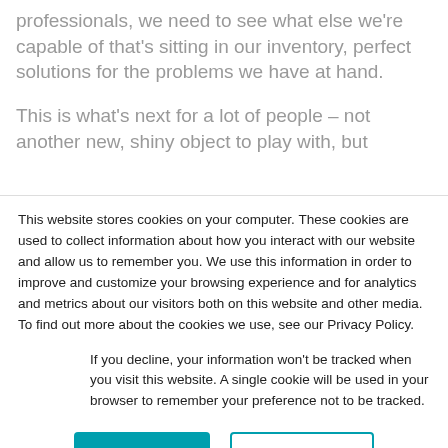professionals, we need to see what else we're capable of that's sitting in our inventory, perfect solutions for the problems we have at hand.
This is what's next for a lot of people – not another new, shiny object to play with, but
This website stores cookies on your computer. These cookies are used to collect information about how you interact with our website and allow us to remember you. We use this information in order to improve and customize your browsing experience and for analytics and metrics about our visitors both on this website and other media. To find out more about the cookies we use, see our Privacy Policy.
If you decline, your information won't be tracked when you visit this website. A single cookie will be used in your browser to remember your preference not to be tracked.